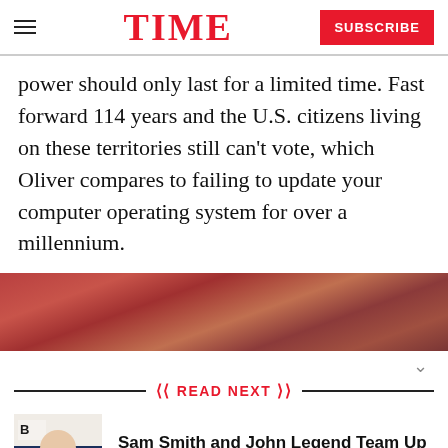TIME | SUBSCRIBE
power should only last for a limited time. Fast forward 114 years and the U.S. citizens living on these territories still can't vote, which Oliver compares to failing to update your computer operating system for over a millennium.
[Figure (photo): Blurred red/brown background image]
READ NEXT
[Figure (photo): Thumbnail photo of Sam Smith at an event]
Sam Smith and John Legend Team Up For Charity